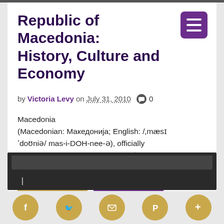Republic of Macedonia: History, Culture and Economy
by Victoria Levy on July 31, 2010  💬 0
Macedonia (Macedonian: Македонија; English: /ˌmæsɪˈdoʊniə/ mas-i-DOH-nee-ə), officially the Republic of Macedonia (Република Македониа, transliterated: Republika
Social share icons: Facebook, Twitter, Email, Pinterest, More